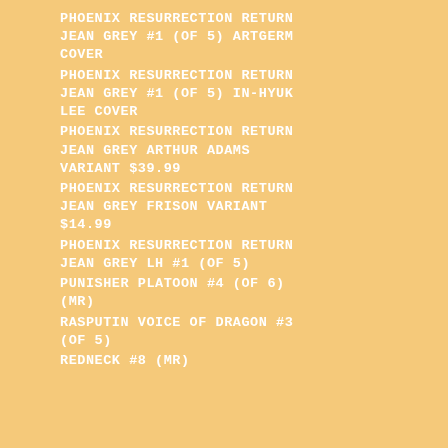PHOENIX RESURRECTION RETURN JEAN GREY #1 (OF 5) ARTGERM COVER
PHOENIX RESURRECTION RETURN JEAN GREY #1 (OF 5) IN-HYUK LEE COVER
PHOENIX RESURRECTION RETURN JEAN GREY ARTHUR ADAMS VARIANT $39.99
PHOENIX RESURRECTION RETURN JEAN GREY FRISON VARIANT $14.99
PHOENIX RESURRECTION RETURN JEAN GREY LH #1 (OF 5)
PUNISHER PLATOON #4 (OF 6) (MR)
RASPUTIN VOICE OF DRAGON #3 (OF 5)
REDNECK #8 (MR)